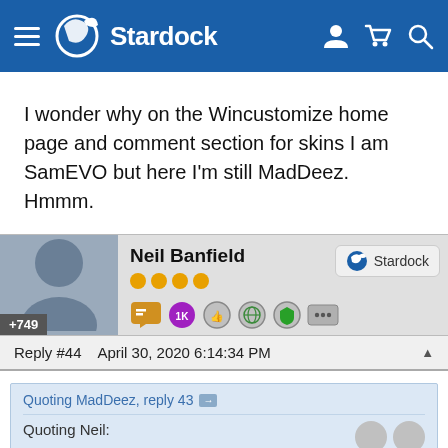Stardock
I wonder why on the Wincustomize home page and comment section for skins I am SamEVO but here I'm still MadDeez. Hmmm.
Neil Banfield +749 Stardock Reply #44   April 30, 2020 6:14:34 PM
Quoting MadDeez, reply 43
Quoting Neil: